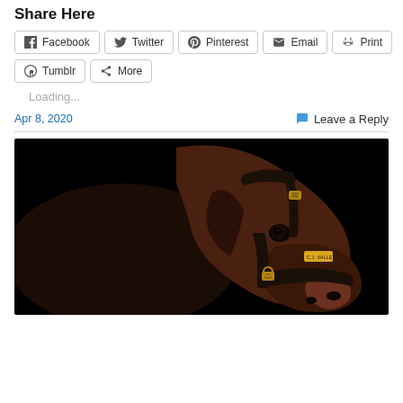Share Here
Facebook  Twitter  Pinterest  Email  Print  Tumblr  More
Loading...
Apr 8, 2020    Leave a Reply
[Figure (photo): Close-up portrait of a brown horse wearing a dark leather halter with gold buckles, against a black background. A name tag on the halter appears to read 'C.J. Valley'.]